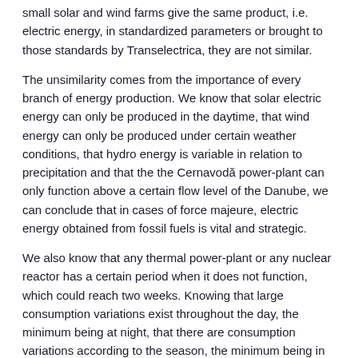small solar and wind farms give the same product, i.e. electric energy, in standardized parameters or brought to those standards by Transelectrica, they are not similar.
The unsimilarity comes from the importance of every branch of energy production. We know that solar electric energy can only be produced in the daytime, that wind energy can only be produced under certain weather conditions, that hydro energy is variable in relation to precipitation and that the the Cernavodă power-plant can only function above a certain flow level of the Danube, we can conclude that in cases of force majeure, electric energy obtained from fossil fuels is vital and strategic.
We also know that any thermal power-plant or any nuclear reactor has a certain period when it does not function, which could reach two weeks. Knowing that large consumption variations exist throughout the day, the minimum being at night, that there are consumption variations according to the season, the minimum being in the summertime, we can affirm that the only energy resources that we can always rely on are those which result from fossil fuels, i.e. coal, naphtha, and gas. The installed power of thermal power-plants is close to 12,000 MW, more than the national consumption in the wintertime.